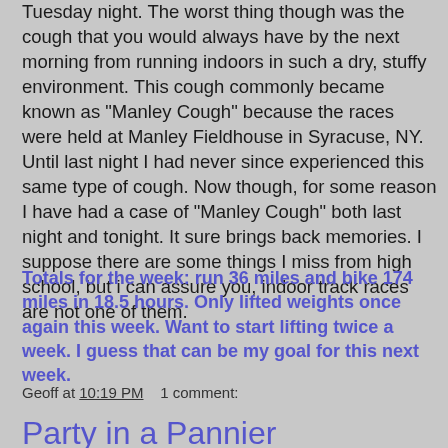Tuesday night. The worst thing though was the cough that you would always have by the next morning from running indoors in such a dry, stuffy environment. This cough commonly became known as "Manley Cough" because the races were held at Manley Fieldhouse in Syracuse, NY. Until last night I had never since experienced this same type of cough. Now though, for some reason I have had a case of "Manley Cough" both last night and tonight. It sure brings back memories. I suppose there are some things I miss from high school, but i can assure you, indoor track races are not one of them.
Totals for the week: run 36 miles and bike 174 miles in 18.5 hours. Only lifted weights once again this week. Want to start lifting twice a week. I guess that can be my goal for this next week.
Geoff at 10:19 PM    1 comment:
Party in a Pannier